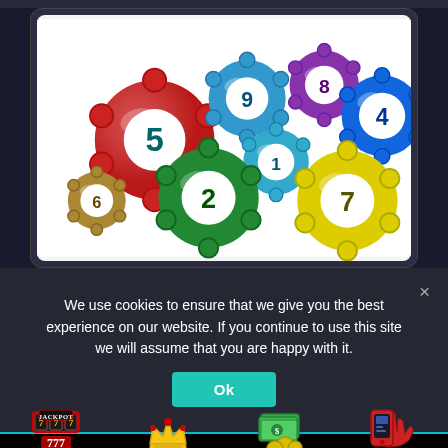[Figure (illustration): Colorful lottery balls with numbers: red ball 5, blue-teal ball 9, green ball 2, gold/brown small ball 6, teal ball 8, purple ball (small), blue ball 4, cyan/teal ball 1, yellow ball 7 — scattered on white background]
We use cookies to ensure that we give you the best experience on our website. If you continue to use this site we will assume that you are happy with it.
Ok
[Figure (illustration): Jackpot slot machine icon with 777]
Best Slot Sites
[Figure (illustration): Gold crown icon]
New Slot Sites
[Figure (illustration): Stack of money bills with coins icon]
Free Slot Sites
[Figure (illustration): Mobile phone with hand icon in red]
Mobile Slots Sites